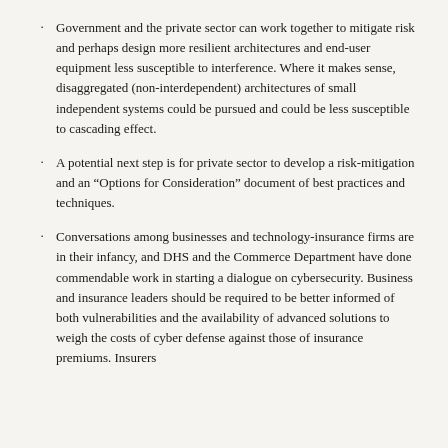Government and the private sector can work together to mitigate risk and perhaps design more resilient architectures and end-user equipment less susceptible to interference. Where it makes sense, disaggregated (non-interdependent) architectures of small independent systems could be pursued and could be less susceptible to cascading effect.
A potential next step is for private sector to develop a risk-mitigation and an “Options for Consideration” document of best practices and techniques.
Conversations among businesses and technology-insurance firms are in their infancy, and DHS and the Commerce Department have done commendable work in starting a dialogue on cybersecurity. Business and insurance leaders should be required to be better informed of both vulnerabilities and the availability of advanced solutions to weigh the costs of cyber defense against those of insurance premiums. Insurers